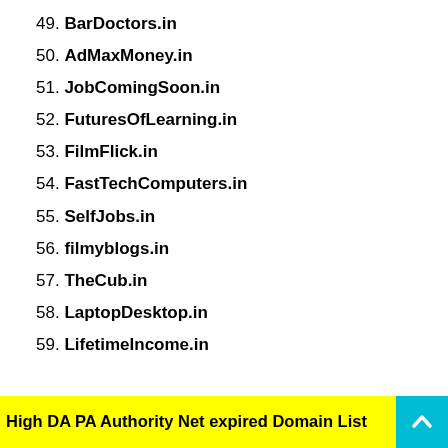49. BarDoctors.in
50. AdMaxMoney.in
51. JobComingSoon.in
52. FuturesOfLearning.in
53. FilmFlick.in
54. FastTechComputers.in
55. SelfJobs.in
56. filmyblogs.in
57. TheCub.in
58. LaptopDesktop.in
59. LifetimeIncome.in
High DA PA Authority Net expired Domain List